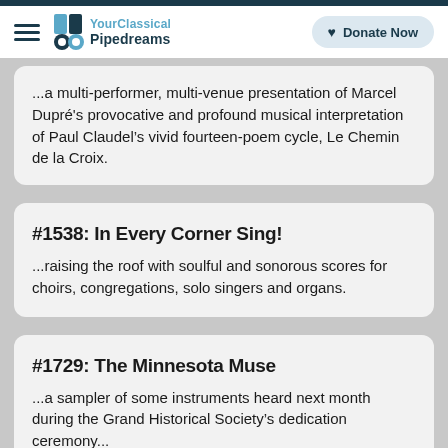YourClassical Pipedreams — Donate Now
...a multi-performer, multi-venue presentation of Marcel Dupré's provocative and profound musical interpretation of Paul Claudel's vivid fourteen-poem cycle, Le Chemin de la Croix.
#1538: In Every Corner Sing!
...raising the roof with soulful and sonorous scores for choirs, congregations, solo singers and organs.
#1729: The Minnesota Muse
...a sampler of some instruments heard next month during the Grand Historical Society's dedication ceremony...